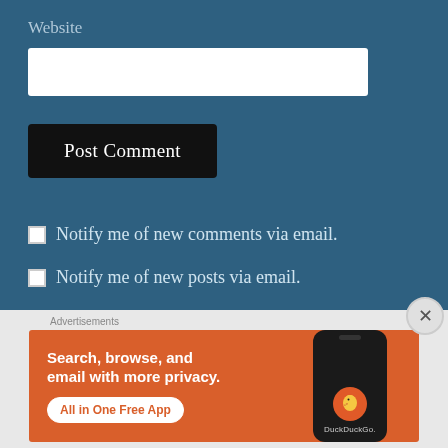Website
Post Comment
Notify me of new comments via email.
Notify me of new posts via email.
Advertisements
[Figure (illustration): DuckDuckGo advertisement banner with orange background showing a smartphone. Text reads: Search, browse, and email with more privacy. All in One Free App. DuckDuckGo.]